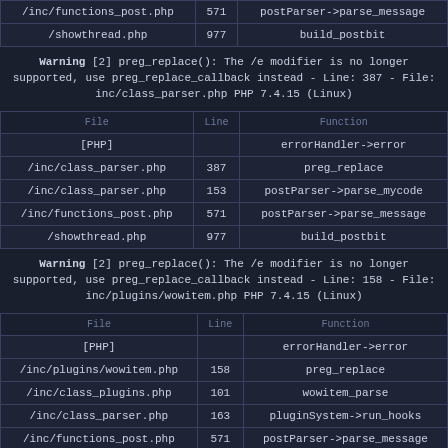| File | Line | Function |
| --- | --- | --- |
| /inc/functions_post.php | 571 | postParser->parse_message |
| /showthread.php | 977 | build_postbit |
Warning [2] preg_replace(): The /e modifier is no longer supported, use preg_replace_callback instead - Line: 387 - File: inc/class_parser.php PHP 7.4.15 (Linux)
| File | Line | Function |
| --- | --- | --- |
| [PHP] |  | errorHandler->error |
| /inc/class_parser.php | 387 | preg_replace |
| /inc/class_parser.php | 153 | postParser->parse_mycode |
| /inc/functions_post.php | 571 | postParser->parse_message |
| /showthread.php | 977 | build_postbit |
Warning [2] preg_replace(): The /e modifier is no longer supported, use preg_replace_callback instead - Line: 158 - File: inc/plugins/wowitem.php PHP 7.4.15 (Linux)
| File | Line | Function |
| --- | --- | --- |
| [PHP] |  | errorHandler->error |
| /inc/plugins/wowitem.php | 158 | preg_replace |
| /inc/class_plugins.php | 101 | wowitem_parse |
| /inc/class_parser.php | 163 | pluginSystem->run_hooks |
| /inc/functions_post.php | 571 | postParser->parse_message |